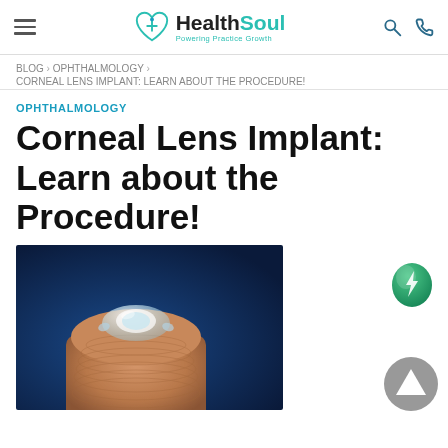HealthSoul — Powering Practice Growth
BLOG › OPHTHALMOLOGY › CORNEAL LENS IMPLANT: LEARN ABOUT THE PROCEDURE!
OPHTHALMOLOGY
Corneal Lens Implant: Learn about the Procedure!
[Figure (photo): A small transparent corneal lens implant resting on a fingertip, photographed against a dark blue background]